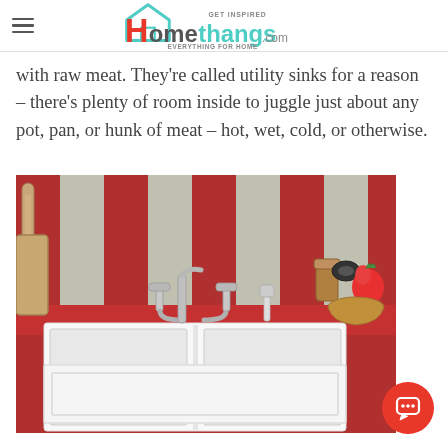Homethangs.com — GET INSPIRED, EVERYTHING FOR HOME
with raw meat. They're called utility sinks for a reason – there's plenty of room inside to juggle just about any pot, pan, or hunk of meat – hot, wet, cold, or otherwise.
[Figure (photo): A white double farmhouse/apron-front sink mounted in a red kitchen counter with red and white striped tile backsplash, vintage chrome bridge faucet with spray attachment, and wooden kitchen utensils and a strawberry decoration on the counter.]